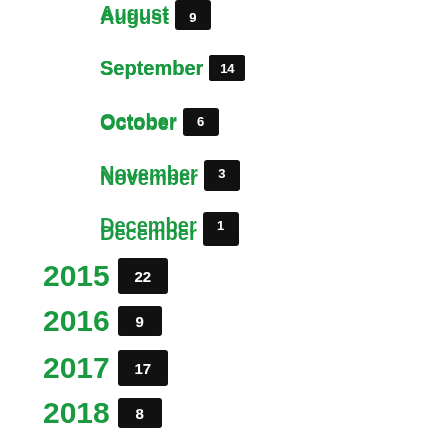August 9
September 14
October 6
November 3
December 1
2015 22
2016 9
2017 17
2018 8
2019 9
2020 6
2021 3
2022 1